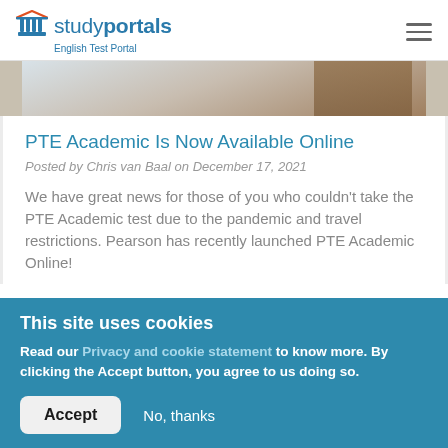studyportals — English Test Portal
[Figure (photo): Partial photo of a person writing or studying, cropped at top of article card]
PTE Academic Is Now Available Online
Posted by Chris van Baal on December 17, 2021
We have great news for those of you who couldn't take the PTE Academic test due to the pandemic and travel restrictions. Pearson has recently launched PTE Academic Online!
This site uses cookies
Read our Privacy and cookie statement to know more. By clicking the Accept button, you agree to us doing so.